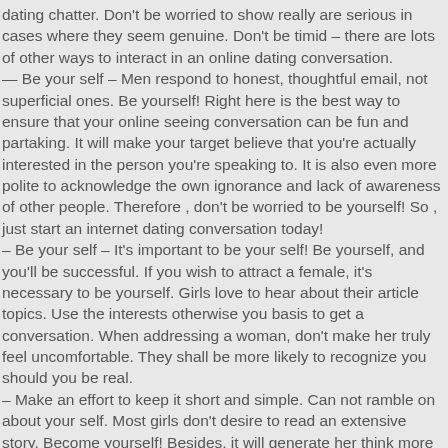dating chatter. Don't be worried to show really are serious in cases where they seem genuine. Don't be timid – there are lots of other ways to interact in an online dating conversation.
— Be your self – Men respond to honest, thoughtful email, not superficial ones. Be yourself! Right here is the best way to ensure that your online seeing conversation can be fun and partaking. It will make your target believe that you're actually interested in the person you're speaking to. It is also even more polite to acknowledge the own ignorance and lack of awareness of other people. Therefore , don't be worried to be yourself! So , just start an internet dating conversation today!
– Be your self – It's important to be your self! Be yourself, and you'll be successful. If you wish to attract a female, it's necessary to be yourself. Girls love to hear about their article topics. Use the interests otherwise you basis to get a conversation. When addressing a woman, don't make her truly feel uncomfortable. They shall be more likely to recognize you should you be real.
– Make an effort to keep it short and simple. Can not ramble on about your self. Most girls don't desire to read an extensive story. Become yourself! Besides, it will generate her think more comfortable. You can